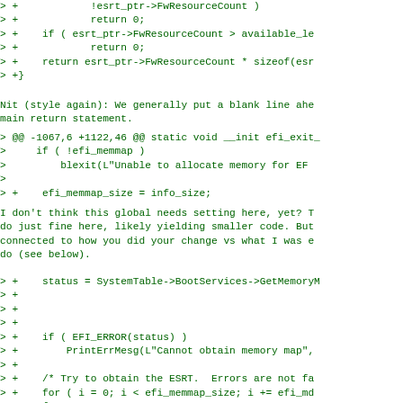> +            !esrt_ptr->FwResourceCount )
> +            return 0;
> +    if ( esrt_ptr->FwResourceCount > available_le
> +            return 0;
> +    return esrt_ptr->FwResourceCount * sizeof(esr
> +}
Nit (style again): We generally put a blank line ahe
main return statement.
> @@ -1067,6 +1122,46 @@ static void __init efi_exit_
>     if ( !efi_memmap )
>         blexit(L"Unable to allocate memory for EF
>
> +    efi_memmap_size = info_size;
I don't think this global needs setting here, yet? T
do just fine here, likely yielding smaller code. But
connected to how you did your change vs what I was e
do (see below).
> +    status = SystemTable->BootServices->GetMemoryM
> +
> +
> +
> +    if ( EFI_ERROR(status) )
> +        PrintErrMesg(L"Cannot obtain memory map",
> +
> +    /* Try to obtain the ESRT.  Errors are not fa
> +    for ( i = 0; i < efi_memmap_size; i += efi_md
> +    {
> +    /*